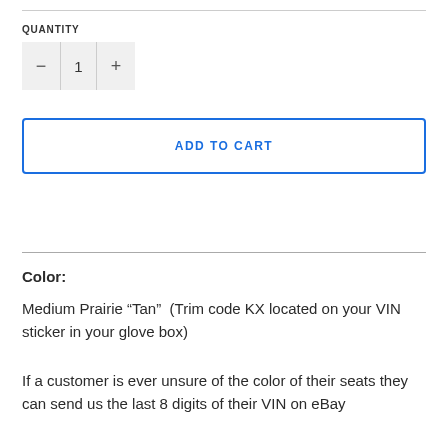QUANTITY
[Figure (other): Quantity selector control showing minus button, value 1, and plus button]
ADD TO CART
Color:
Medium Prairie “Tan”  (Trim code KX located on your VIN sticker in your glove box)
If a customer is ever unsure of the color of their seats they can send us the last 8 digits of their VIN on eBay